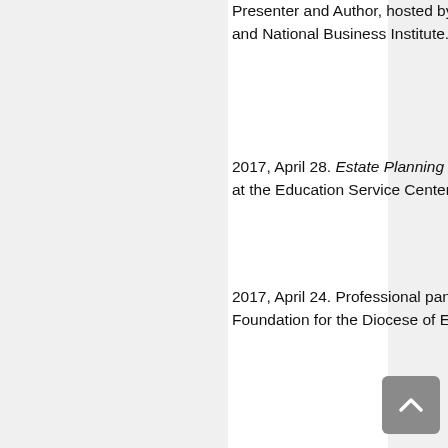Presenter and Author, hosted by the Institute for Paralegal Education and National Business Institute. (Upcoming).
2017, April 28. Estate Planning for Special Needs Individuals. Presenter at the Education Service Center—Region 19.
2017, April 24. Professional panelist at the Planned Giving Seminar, Foundation for the Diocese of El Paso.
2017, April 19. Heirships: No Will? Now What? Presenter at the El Paso Estate Planning Council.
2017, February 1. Basic Estate Planning. Presenter at the NMSU Estate Planning Conference for Women.